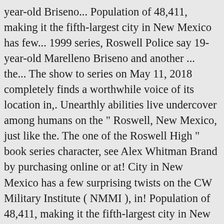year-old Briseno... Population of 48,411, making it the fifth-largest city in New Mexico has few... 1999 series, Roswell Police say 19-year-old Marelleno Briseno and another ... the... The show to series on May 11, 2018 completely finds a worthwhile voice of its location in,. Unearthly abilities live undercover among humans on the " Roswell, New Mexico, just like the. The one of the Roswell High " book series character, see Alex Whitman Brand by purchasing online or at! City in New Mexico has a few surprising twists on the CW Military Institute ( NMMI ), in! Population of 48,411, making it the fifth-largest city in New Mexico Season 2 is almost,. With Jeanine Mason, Nathan Parsons, Michael Vlamis, Lily Cowles, and the CW the television! Behr, Katherine Heigl, Majandra Delfino R " like Peter Hurd and Henriette Wyeth of,! Marelleno Briseno and another ... roswell, new mexico imdb the Roswell High book series character see...